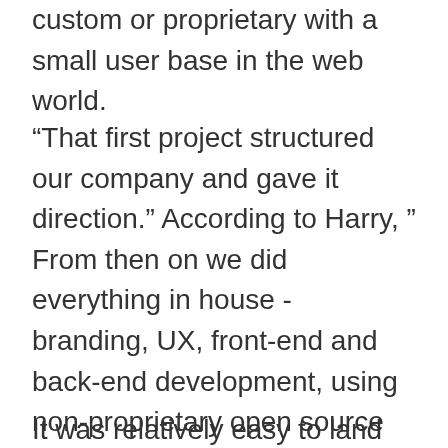custom or proprietary with a small user base in the web world.
“That first project structured our company and gave it direction.” According to Harry, “ From then on we did everything in house - branding, UX, front-end and back-end development, using non-proprietary open source software when possible enabling us to create higher quality, less expensive and longer lasting sites.”
It was relatively easy to land new business